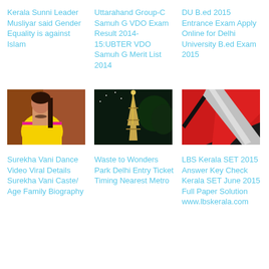Kerala Sunni Leader Musliyar said Gender Equality is against Islam
Uttarahand Group-C Samuh G VDO Exam Result 2014-15:UBTER VDO Samuh G Merit List 2014
DU B.ed 2015 Entrance Exam Apply Online for Delhi University B.ed Exam 2015
[Figure (photo): Woman in yellow saree]
[Figure (photo): Eiffel Tower at night illuminated]
[Figure (photo): Close-up of red and black car surface]
Surekha Vani Dance Video Viral Details Surekha Vani Caste/ Age Family Biography
Waste to Wonders Park Delhi Entry Ticket Timing Nearest Metro
LBS Kerala SET 2015 Answer Key Check Kerala SET June 2015 Full Paper Solution www.lbskerala.com